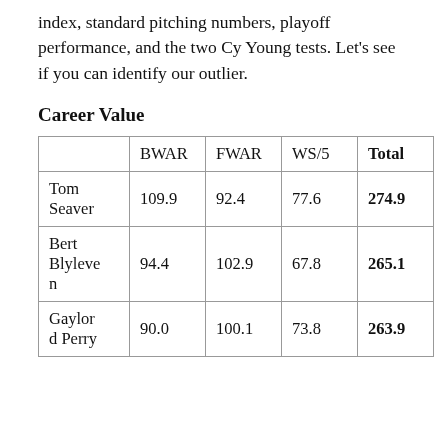index, standard pitching numbers, playoff performance, and the two Cy Young tests. Let's see if you can identify our outlier.
Career Value
|  | BWAR | FWAR | WS/5 | Total |
| --- | --- | --- | --- | --- |
| Tom Seaver | 109.9 | 92.4 | 77.6 | 274.9 |
| Bert Blyleven | 94.4 | 102.9 | 67.8 | 265.1 |
| Gaylor d Perry | 90.0 | 100.1 | 73.8 | 263.9 |